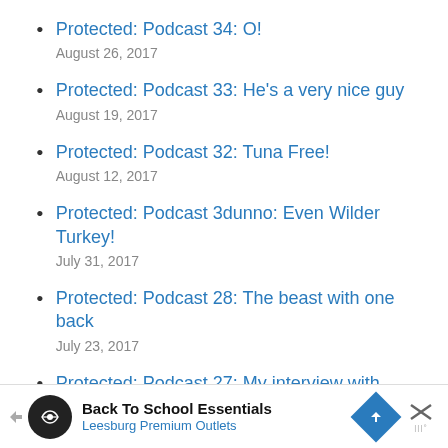Protected: Podcast 34: O!
August 26, 2017
Protected: Podcast 33: He’s a very nice guy
August 19, 2017
Protected: Podcast 32: Tuna Free!
August 12, 2017
Protected: Podcast 3dunno: Even Wilder Turkey!
July 31, 2017
Protected: Podcast 28: The beast with one back
July 23, 2017
Protected: Podcast 27: My interview with Destiny Herndon-De La Rosa of New Wave
[Figure (infographic): Advertisement banner for Back To School Essentials at Leesburg Premium Outlets]